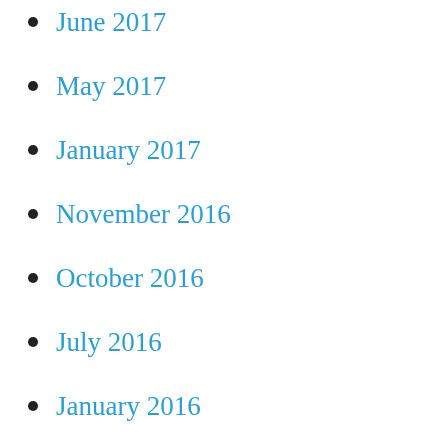June 2017
May 2017
January 2017
November 2016
October 2016
July 2016
January 2016
September 2015
December 2014
October 2014
September 2014
June 2014
May 2014
March 2014
January 2014
December 2013
November 2013